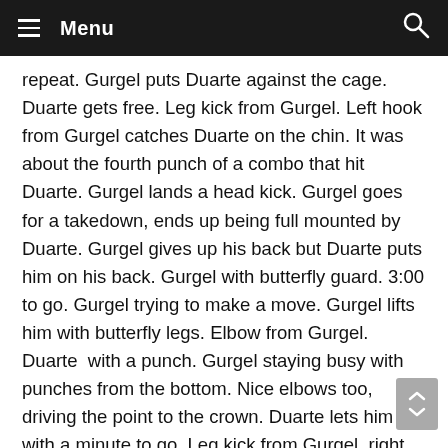Menu
repeat. Gurgel puts Duarte against the cage. Duarte gets free. Leg kick from Gurgel. Left hook from Gurgel catches Duarte on the chin. It was about the fourth punch of a combo that hit Duarte. Gurgel lands a head kick. Gurgel goes for a takedown, ends up being full mounted by Duarte. Gurgel gives up his back but Duarte puts him on his back. Gurgel with butterfly guard. 3:00 to go. Gurgel trying to make a move. Gurgel lifts him with butterfly legs. Elbow from Gurgel. Duarte  with a punch. Gurgel staying busy with punches from the bottom. Nice elbows too, driving the point to the crown. Duarte lets him up with a minute to go. Leg kick from Gurgel, right hand. Head kick from Gurgel, big double leg takedown from Duarte. Gurgel with elbows to